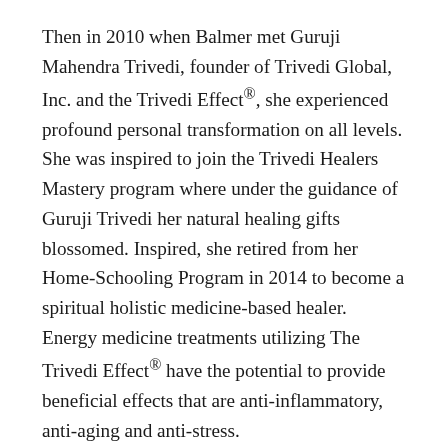Then in 2010 when Balmer met Guruji Mahendra Trivedi, founder of Trivedi Global, Inc. and the Trivedi Effect®, she experienced profound personal transformation on all levels. She was inspired to join the Trivedi Healers Mastery program where under the guidance of Guruji Trivedi her natural healing gifts blossomed. Inspired, she retired from her Home-Schooling Program in 2014 to become a spiritual holistic medicine-based healer. Energy medicine treatments utilizing The Trivedi Effect® have the potential to provide beneficial effects that are anti-inflammatory, anti-aging and anti-stress.
The impact of Balmer's Biofield energy healing abilities on overall health, improved quality of life, and increased Vitamin D3 absorption have been validated by the rigor of internationally accepted models of